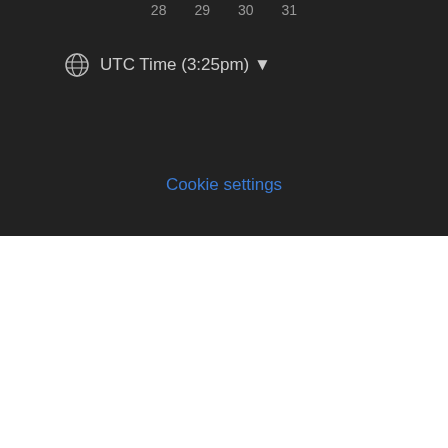28  29  30  31
UTC Time (3:25pm) ▾
Cookie settings
Related
[Figure (photo): Food thumbnail image on the left, colorful dish]
[Figure (photo): Food thumbnail image on the right, bowl dish]